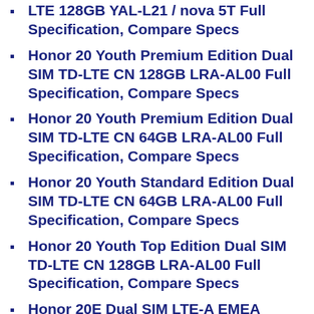LTE 128GB YAL-L21 / nova 5T Full Specification, Compare Specs
Honor 20 Youth Premium Edition Dual SIM TD-LTE CN 128GB LRA-AL00 Full Specification, Compare Specs
Honor 20 Youth Premium Edition Dual SIM TD-LTE CN 64GB LRA-AL00 Full Specification, Compare Specs
Honor 20 Youth Standard Edition Dual SIM TD-LTE CN 64GB LRA-AL00 Full Specification, Compare Specs
Honor 20 Youth Top Edition Dual SIM TD-LTE CN 128GB LRA-AL00 Full Specification, Compare Specs
Honor 20E Dual SIM LTE-A EMEA 64GB HRY-LX1T / Honor 20 Lite HRY-L21T Full Specification, Compare Specs
Honor 20S Premium Edition Dual SIM TD-LTE